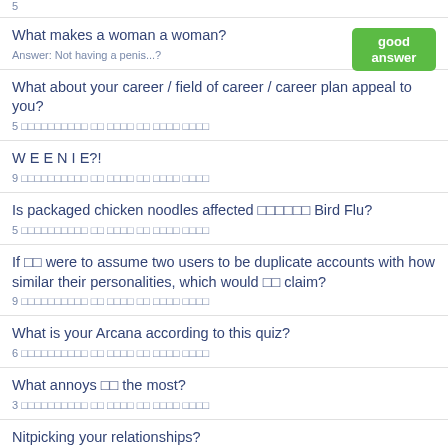5 [characters] to read to read read
What makes a woman a woman?
Answer: Not having a penis...?
What about your career / field of career / career plan appeal to you?
5 [characters] to read to read read
W E E N I E?!
9 [characters] to read to read read
Is packaged chicken noodles affected [chars] Bird Flu?
5 [characters] to read to read read
If [chars] were to assume two users to be duplicate accounts with how similar their personalities, which would [chars] claim?
9 [characters] to read to read read
What is your Arcana according to this quiz?
6 [characters] to read to read read
What annoys [chars] the most?
3 [characters] to read to read read
Nitpicking your relationships?
6 [characters] to read to read read
New Year Resolutions D...